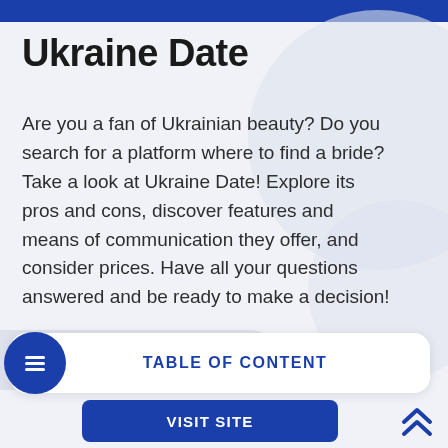Ukraine Date
Are you a fan of Ukrainian beauty? Do you search for a platform where to find a bride? Take a look at Ukraine Date! Explore its pros and cons, discover features and means of communication they offer, and consider prices. Have all your questions answered and be ready to make a decision!
Advertiser Disclosure
TABLE OF CONTENT
VISIT SITE